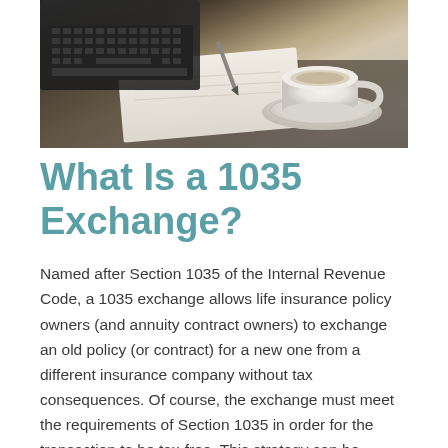[Figure (photo): Overhead photo of a desk with a laptop/keyboard, a notebook with a pen, and a white coffee cup on a saucer. Warm neutral tones.]
What Is a 1035 Exchange?
Named after Section 1035 of the Internal Revenue Code, a 1035 exchange allows life insurance policy owners (and annuity contract owners) to exchange an old policy (or contract) for a new one from a different insurance company without tax consequences. Of course, the exchange must meet the requirements of Section 1035 in order for the transaction to be tax-free. This strategy can be especially beneficial to a person who purchased a life insurance policy or annuity contract many years